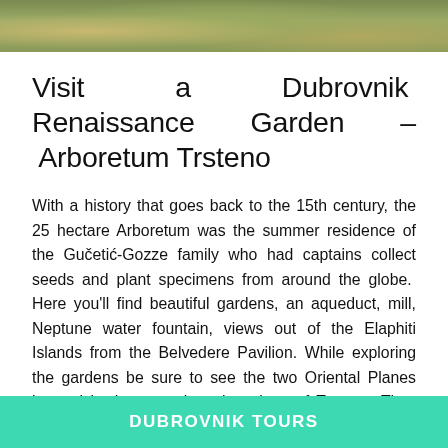[Figure (photo): Outdoor landscape photo strip showing green foliage and rocky terrain, likely from the Trsteno area near Dubrovnik]
Visit a Dubrovnik Renaissance Garden – Arboretum Trsteno
With a history that goes back to the 15th century, the 25 hectare Arboretum was the summer residence of the Gučetić-Gozze family who had captains collect seeds and plant specimens from around the globe.  Here you'll find beautiful gardens, an aqueduct, mill, Neptune water fountain, views out of the Elaphiti Islands from the Belvedere Pavilion. While exploring the gardens be sure to see the two Oriental Planes located in the central market place of Trsteno. They are over 500 years old and are both about 45/60 m tall and their trunk...
DUBROVNIK TOURS